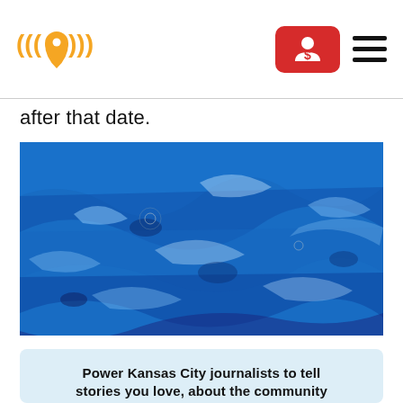[Logo: KCUR-style radio/location pin icon] [Donate button] [Hamburger menu]
after that date.
[Figure (photo): Close-up photograph of blue rippling water surface with light reflections creating abstract patterns]
Power Kansas City journalists to tell stories you love, about the community